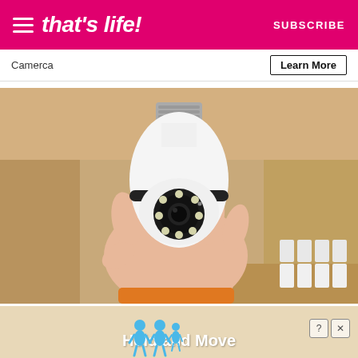that's life! | SUBSCRIBE
Camerca
Learn More
[Figure (photo): A hand holding a white light-bulb-shaped security camera with a circular lens and LED lights, mounted with a standard E27 screw base, held against a wooden shelf background with some white components visible]
Homeowners Are Trading in Their Doorbell Cams for this
[Figure (infographic): Advertisement banner showing blue cartoon figures with text 'Hold and Move', with question mark and X control icons]